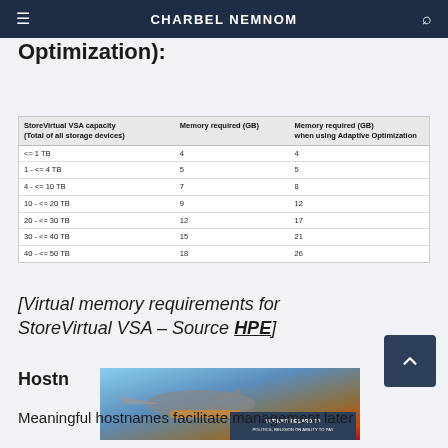CHARBEL NEMNOM
Optimization):
| StoreVirtual VSA capacity (Total of all storage devices) | Memory required (GB) | Memory required (GB) when using Adaptive Optimization |
| --- | --- | --- |
| <= 1 TB | 4 | 4 |
| 1 - <= 4 TB | 5 | 5 |
| 4 - <= 10 TB | 7 | 8 |
| 10 - <= 20 TB | 9 | 12 |
| 20 - <= 30 TB | 12 | 17 |
| 30 - <= 40 TB | 15 | 21 |
| 40 - <= 50 TB | 18 | 26 |
[Virtual memory requirements for StoreVirtual VSA – Source HPE]
Hostname
[Figure (photo): Advertisement banner showing an aircraft with cargo, overlaid with text WITHOUT REGARD TO POLITICS, RELIGION OR ABILITY TO PAY]
Meaningful hostnames facilitate management later